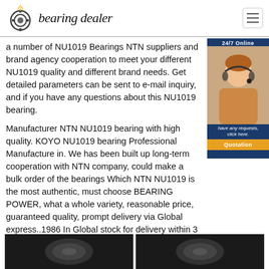bearing dealer
a number of NU1019 Bearings NTN suppliers and brand agency cooperation to meet your different NU1019 quality and different brand needs. Get detailed parameters can be sent to e-mail inquiry, and if you have any questions about this NU1019 bearing.
[Figure (photo): Customer service representative with headset, sidebar widget showing 24/7 Online support with quotation button]
Manufacturer NTN NU1019 bearing with high quality. KOYO NU1019 bearing Professional Manufacture in. We has been built up long-term cooperation with NTN company, could make a bulk order of the bearings Which NTN NU1019 is the most authentic, must choose BEARING POWER, what a whole variety, reasonable price, guaranteed quality, prompt delivery via Global express..1986 In Global stock for delivery within 3 - 7 working days. Easy ways to get the answers you need.
PACKAGE
[Figure (photo): Two product package images at bottom of page]